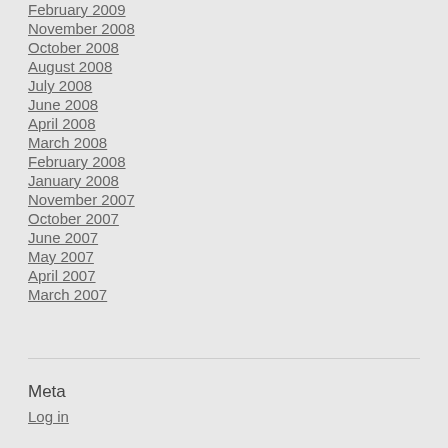February 2009
November 2008
October 2008
August 2008
July 2008
June 2008
April 2008
March 2008
February 2008
January 2008
November 2007
October 2007
June 2007
May 2007
April 2007
March 2007
Meta
Log in